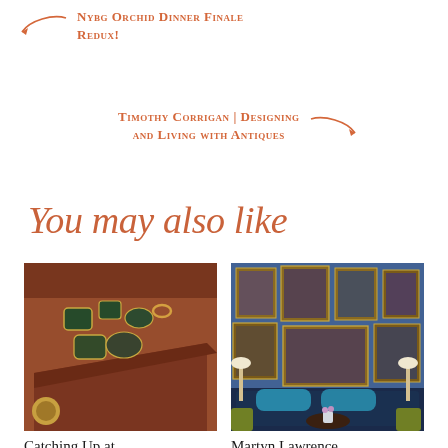NYBG Orchid Dinner Finale Redux!
Timothy Corrigan | Designing and Living with Antiques
You may also like
[Figure (photo): Close-up photo of antique decorative objects including gemstone-set boxes and ornaments on a red velvet surface with gilded furniture]
[Figure (photo): Interior design photo showing a blue tufted sofa against a blue and white patterned wallpaper with multiple framed portrait paintings arranged as a gallery wall, with olive green chairs and floor lamps]
Catching Up at
Martyn Lawrence